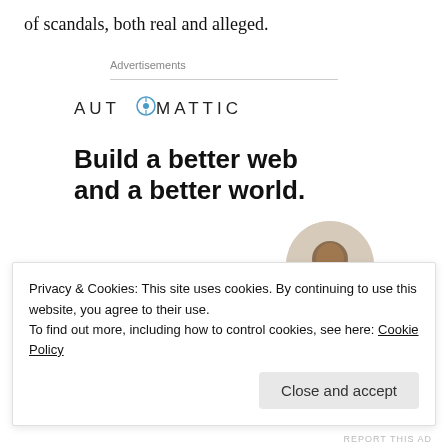of scandals, both real and alleged.
Advertisements
[Figure (logo): Automattic logo with compass icon replacing the O]
Build a better web and a better world.
[Figure (illustration): Apply button and circular photo of a man thinking]
Privacy & Cookies: This site uses cookies. By continuing to use this website, you agree to their use.
To find out more, including how to control cookies, see here: Cookie Policy
Close and accept